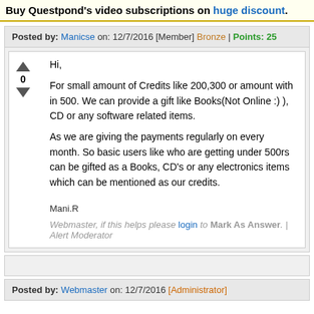Buy Questpond's video subscriptions on huge discount.
Posted by: Manicse on: 12/7/2016 [Member] Bronze | Points: 25
Hi,

For small amount of Credits like 200,300 or amount with in 500. We can provide a gift like Books(Not Online :) ), CD or any software related items.
As we are giving the payments regularly on every month. So basic users like who are getting under 500rs can be gifted as a Books, CD's or any electronics items which can be mentioned as our credits.

Mani.R

Webmaster, if this helps please login to Mark As Answer. | Alert Moderator
Posted by: Webmaster on: 12/7/2016 [Administrator]